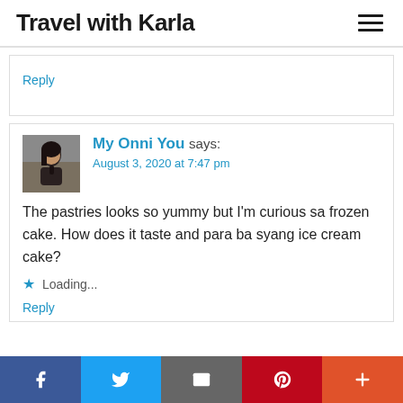Travel with Karla
Reply
My Onni You says:
August 3, 2020 at 7:47 pm
The pastries looks so yummy but I'm curious sa frozen cake. How does it taste and para ba syang ice cream cake?
★ Loading...
Reply